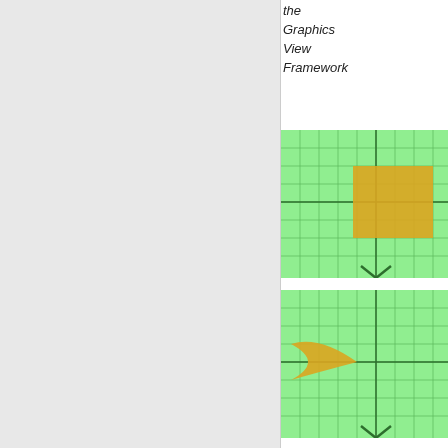the Graphics View Framework
[Figure (illustration): Green grid with dark green crosshair axes and a golden/orange rectangle shape positioned in the upper-right quadrant, with a downward chevron arrow at the bottom center.]
[Figure (illustration): Green grid with dark green crosshair axes and a golden/orange crescent or bird-wing shape in the left area, with a downward chevron arrow at the bottom center.]
For convenience, Qt provides a set of